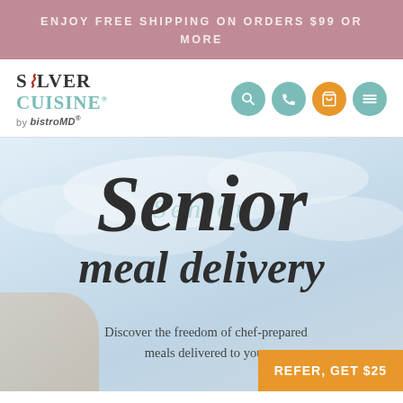ENJOY FREE SHIPPING ON ORDERS $99 OR MORE
[Figure (logo): Silver Cuisine by bistroMD logo with fork icon]
[Figure (screenshot): Navigation icons: search, phone, cart (orange), menu]
[Figure (photo): Hero section with sky/clouds background and senior woman. Large script text: Senior meal delivery. Subtext: Discover the freedom of chef-prepared meals delivered to your]
Senior meal delivery
Discover the freedom of chef-prepared meals delivered to your
REFER, GET $25